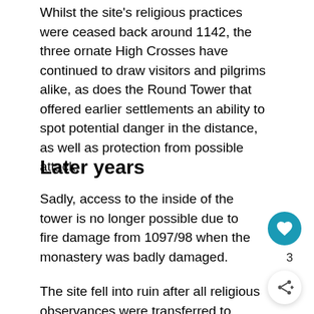Whilst the site's religious practices were ceased back around 1142, the three ornate High Crosses have continued to draw visitors and pilgrims alike, as does the Round Tower that offered earlier settlements an ability to spot potential danger in the distance, as well as protection from possible attack.
Later years
Sadly, access to the inside of the tower is no longer possible due to fire damage from 1097/98 when the monastery was badly damaged.
The site fell into ruin after all religious observances were transferred to nearby Mellifont